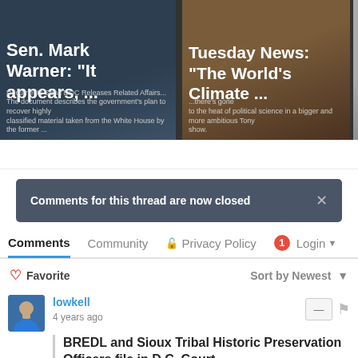[Figure (screenshot): News card showing Sen. Mark Warner quote: 'It appears, ...']
[Figure (screenshot): News card showing Tuesday News: 'The World's Climate ...']
Comments for this thread are now closed
Comments  Community  Privacy Policy  1  Login
Favorite  Sort by Newest
lowkell
4 years ago
BREDL and Sioux Tribal Historic Preservation Officers file in D.C. Court
Mountain Valley Pipeline threatens areas claimed by Sioux as having spiritual significance